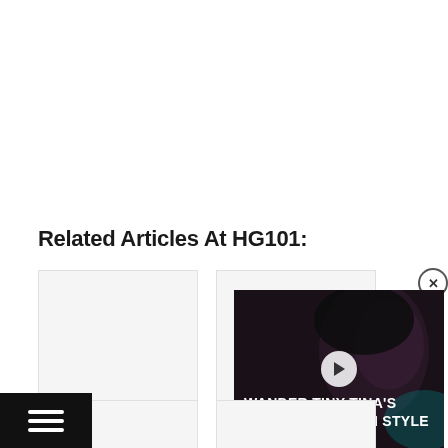Related Articles At HG101:
[Figure (screenshot): Article card thumbnail for Bayonetta — empty/white image placeholder with card border]
Bayonetta
[Figure (screenshot): Article card thumbnail for Blades of Time — empty/white image placeholder with card border]
Blades of Time
[Figure (screenshot): Video overlay advertisement showing 'WANDER TINY TINA'S WONDERLANDS IN STYLE' with play button and close button]
[Figure (screenshot): Hamburger menu button at bottom left, black background with three white horizontal lines]